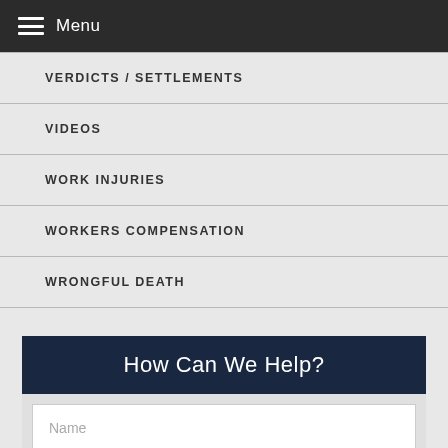Menu
VERDICTS / SETTLEMENTS
VIDEOS
WORK INJURIES
WORKERS COMPENSATION
WRONGFUL DEATH
How Can We Help?
Name
Email